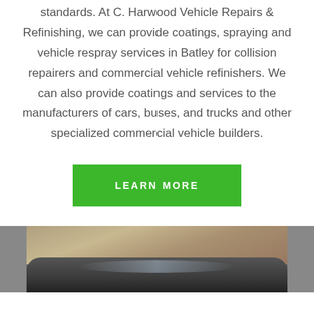standards. At C. Harwood Vehicle Repairs & Refinishing, we can provide coatings, spraying and vehicle respray services in Batley for collision repairers and commercial vehicle refinishers. We can also provide coatings and services to the manufacturers of cars, buses, and trucks and other specialized commercial vehicle builders.
LEARN MORE
[Figure (photo): A car parked in front of a stone brick wall, partially visible photo strip at the bottom of the page.]